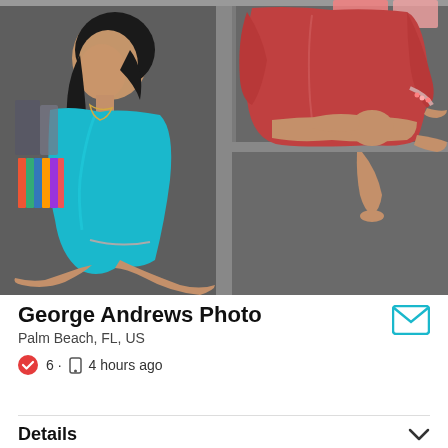[Figure (photo): Fashion photography showing two female models posing inside a large wooden bookshelf/shelving unit. Left model wears a teal/turquoise draped top with silver trim shorts. Right model wears a red/coral long-sleeve top with jeweled cuff. Color swatch books visible on left shelf. Photo by George Andrews.]
George Andrews Photo
Palm Beach, FL, US
6 · 4 hours ago
Details